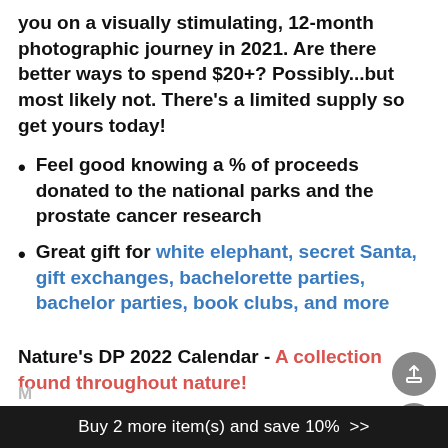you on a visually stimulating, 12-month photographic journey in 2021. Are there better ways to spend $20+? Possibly...but most likely not. There's a limited supply so get yours today!
Feel good knowing a % of proceeds donated to the national parks and the prostate cancer research
Great gift for white elephant, secret Santa, gift exchanges, bachelorette parties, bachelor parties, book clubs, and more
Nature's DP 2022 Calendar - A collection found throughout nature!
Buy 2 more item(s) and save 10%  >>